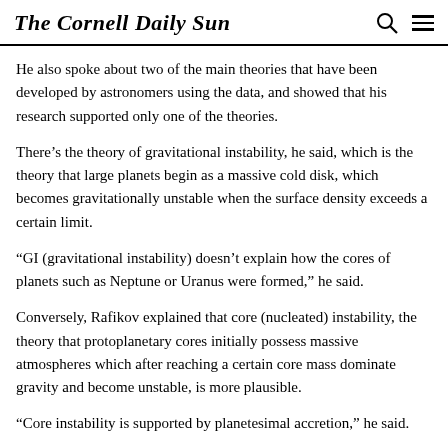The Cornell Daily Sun
He also spoke about two of the main theories that have been developed by astronomers using the data, and showed that his research supported only one of the theories.
There’s the theory of gravitational instability, he said, which is the theory that large planets begin as a massive cold disk, which becomes gravitationally unstable when the surface density exceeds a certain limit.
“GI (gravitational instability) doesn’t explain how the cores of planets such as Neptune or Uranus were formed,” he said.
Conversely, Rafikov explained that core (nucleated) instability, the theory that protoplanetary cores initially possess massive atmospheres which after reaching a certain core mass dominate gravity and become unstable, is more plausible.
“Core instability is supported by planetesimal accretion,” he said.
Some members of the audience agreed.
[Figure (other): Advertisement banner: AI Advertising - Reach Your Audience. Start button visible at right.]